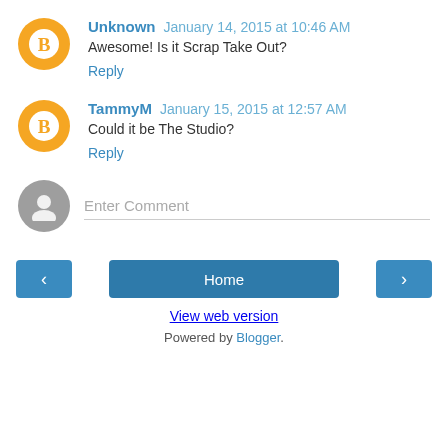Unknown January 14, 2015 at 10:46 AM
Awesome! Is it Scrap Take Out?
Reply
TammyM January 15, 2015 at 12:57 AM
Could it be The Studio?
Reply
Enter Comment
Home
View web version
Powered by Blogger.